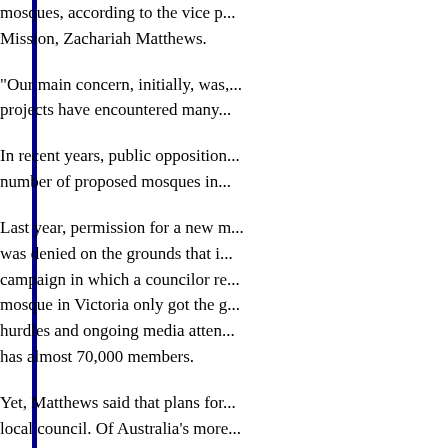mosques, according to the vice p... Mission, Zachariah Matthews.
"Our main concern, initially, was,... projects have encountered many...
In recent years, public opposition... number of proposed mosques in...
Last year, permission for a new m... was denied on the grounds that i... campaign in which a councilor re... mosque in Victoria only got the g... hurdles and ongoing media atten... has almost 70,000 members.
Yet, Matthews said that plans for... local council. Of Australia's more... Punchbowl's state of New South...
An act of faith
Finding a religious architect was... community, according to Horton.
"It gave them confidence that the... into a building that may not appe... all of the meaning that is so much...
Candalenas, who is a Greek Orth...